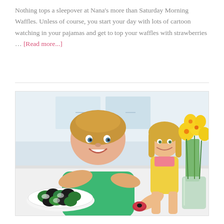Nothing tops a sleepover at Nana's more than Saturday Morning Waffles. Unless of course, you start your day with lots of cartoon watching in your pajamas and get to top your waffles with strawberries … [Read more...]
[Figure (photo): A smiling young girl in a green t-shirt leaning on a white table surface next to an American Girl doll in a yellow dress. There is a plate of green and chocolate cookies/treats in front of them, and a glass vase with yellow daffodils in the background on the right.]